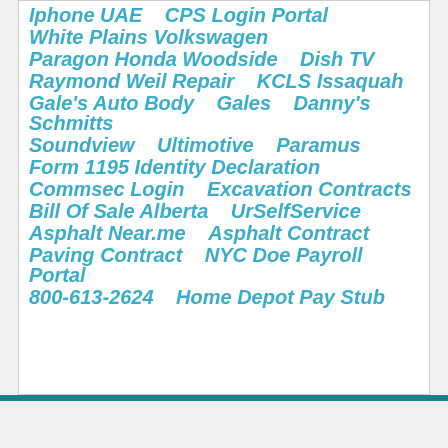Iphone UAE    CPS Login Portal
White Plains Volkswagen
Paragon Honda Woodside    Dish TV
Raymond Weil Repair    KCLS Issaquah
Gale's Auto Body    Gales    Danny's    Schmitts
Soundview    Ultimotive    Paramus
Form 1195 Identity Declaration
Commsec Login    Excavation Contracts
Bill Of Sale Alberta    UrSelfService
Asphalt Near.me    Asphalt Contract
Paving Contract    NYC Doe Payroll Portal
800-613-2624    Home Depot Pay Stub